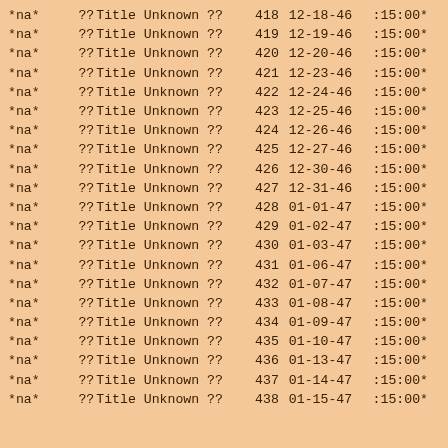| *na* | ?? | Title Unknown ?? | 418 | 12-18-46 | :15:00* |
| *na* | ?? | Title Unknown ?? | 419 | 12-19-46 | :15:00* |
| *na* | ?? | Title Unknown ?? | 420 | 12-20-46 | :15:00* |
| *na* | ?? | Title Unknown ?? | 421 | 12-23-46 | :15:00* |
| *na* | ?? | Title Unknown ?? | 422 | 12-24-46 | :15:00* |
| *na* | ?? | Title Unknown ?? | 423 | 12-25-46 | :15:00* |
| *na* | ?? | Title Unknown ?? | 424 | 12-26-46 | :15:00* |
| *na* | ?? | Title Unknown ?? | 425 | 12-27-46 | :15:00* |
| *na* | ?? | Title Unknown ?? | 426 | 12-30-46 | :15:00* |
| *na* | ?? | Title Unknown ?? | 427 | 12-31-46 | :15:00* |
| *na* | ?? | Title Unknown ?? | 428 | 01-01-47 | :15:00* |
| *na* | ?? | Title Unknown ?? | 429 | 01-02-47 | :15:00* |
| *na* | ?? | Title Unknown ?? | 430 | 01-03-47 | :15:00* |
| *na* | ?? | Title Unknown ?? | 431 | 01-06-47 | :15:00* |
| *na* | ?? | Title Unknown ?? | 432 | 01-07-47 | :15:00* |
| *na* | ?? | Title Unknown ?? | 433 | 01-08-47 | :15:00* |
| *na* | ?? | Title Unknown ?? | 434 | 01-09-47 | :15:00* |
| *na* | ?? | Title Unknown ?? | 435 | 01-10-47 | :15:00* |
| *na* | ?? | Title Unknown ?? | 436 | 01-13-47 | :15:00* |
| *na* | ?? | Title Unknown ?? | 437 | 01-14-47 | :15:00* |
| *na* | ?? | Title Unknown ?? | 438 | 01-15-47 | :15:00* |